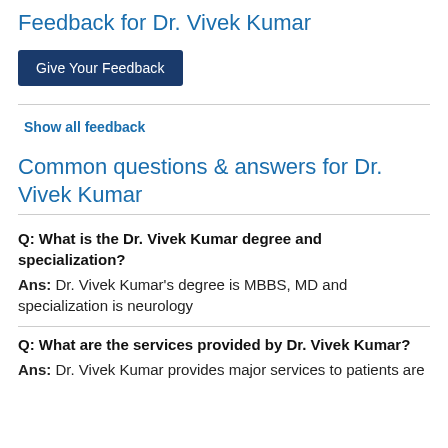Feedback for Dr. Vivek Kumar
Give Your Feedback
Show all feedback
Common questions & answers for Dr. Vivek Kumar
Q: What is the Dr. Vivek Kumar degree and specialization?
Ans: Dr. Vivek Kumar's degree is MBBS, MD and specialization is neurology
Q: What are the services provided by Dr. Vivek Kumar?
Ans: Dr. Vivek Kumar provides major services to patients are